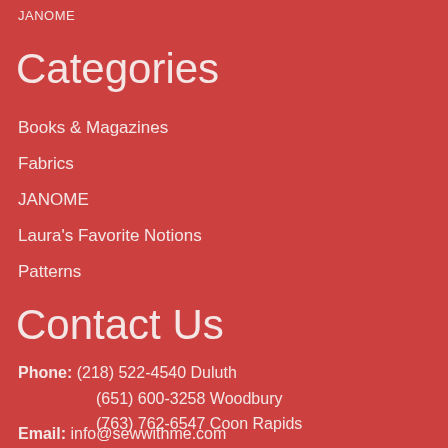JANOME
Categories
Books & Magazines
Fabrics
JANOME
Laura's Favorite Notions
Patterns
Contact Us
Phone:  (218) 522-4540 Duluth
(651) 600-3258 Woodbury
(763) 762-6547 Coon Rapids
Email: info@sewwithme.com
Address:
Sew With Me Duluth